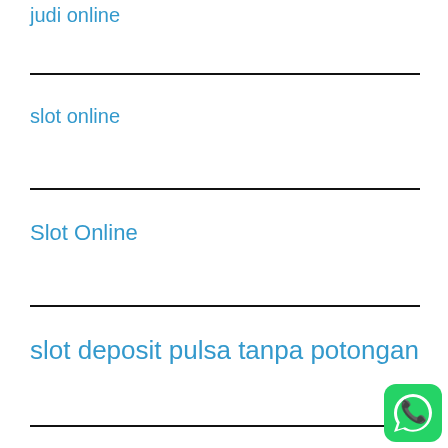judi online
slot online
Slot Online
slot deposit pulsa tanpa potongan
[Figure (logo): WhatsApp button icon, green rounded square with white phone handset graphic]